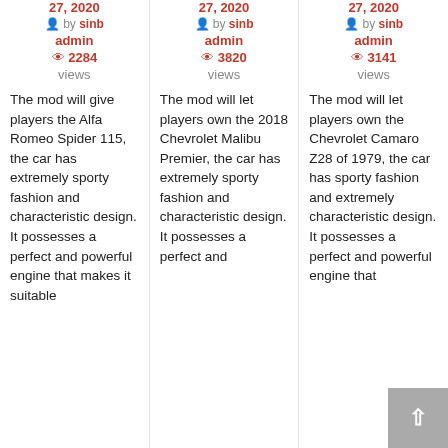27, 2020 by sinb admin 2284 views — The mod will give players the Alfa Romeo Spider 115, the car has extremely sporty fashion and characteristic design. It possesses a perfect and powerful engine that makes it suitable...
27, 2020 by sinb admin 3820 views — The mod will let players own the 2018 Chevrolet Malibu Premier, the car has extremely sporty fashion and characteristic design. It possesses a perfect and...
27, 2020 by sinb admin 3141 views — The mod will let players own the Chevrolet Camaro Z28 of 1979, the car has sporty fashion and extremely characteristic design. It possesses a perfect and powerful engine that...